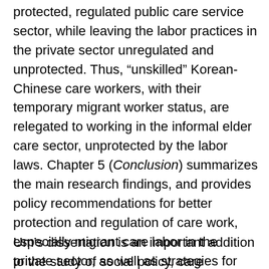protected, regulated public care service sector, while leaving the labor practices in the private sector unregulated and unprotected. Thus, “unskilled” Korean-Chinese care workers, with their temporary migrant worker status, are relegated to working in the informal elder care sector, unprotected by the labor laws. Chapter 5 (Conclusion) summarizes the main research findings, and provides policy recommendations for better protection and regulation of care work, especially migrant care labor in the private sector, as well as strategies for advocacy movements to challenge the current discriminatory employment practices.
Um’s dissertation is an important addition to the study of social policy, care migration and the East